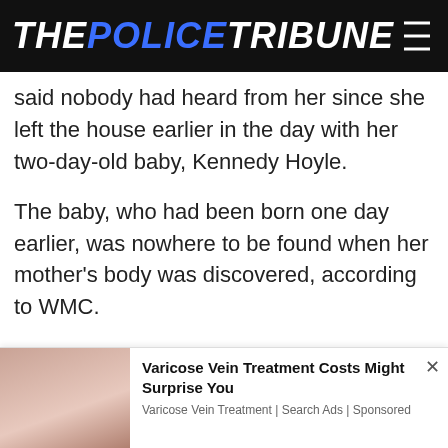THE POLICE TRIBUNE
said nobody had heard from her since she left the house earlier in the day with her two-day-old baby, Kennedy Hoyle.
The baby, who had been born one day earlier, was nowhere to be found when her mother's body was discovered, according to WMC.
Authorities launched a search and issued
[Figure (photo): Partial photo visible at bottom left corner]
Varicose Vein Treatment Costs Might Surprise You
Varicose Vein Treatment | Search Ads | Sponsored